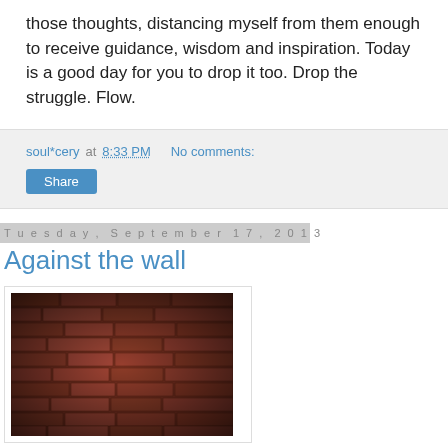those thoughts, distancing myself from them enough to receive guidance, wisdom and inspiration. Today is a good day for you to drop it too. Drop the struggle. Flow.
soul*cery at 8:33 PM   No comments:
Share
Tuesday, September 17, 2013
Against the wall
[Figure (photo): A close-up photograph of a rustic red brick wall with dark shadowing around the edges, creating a vignette effect.]